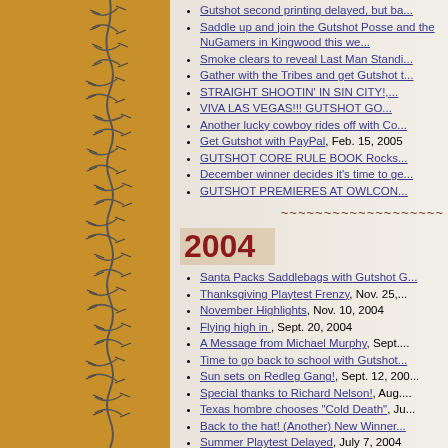Gutshot second printing delayed, but ba...
Saddle up and join the Gutshot Posse and the NuGamers in Kingwood this we...
Smoke clears to reveal Last Man Standi...
Gather with the Tribes and get Gutshot t...
STRAIGHT SHOOTIN' IN SIN CITY!,...
VIVA LAS VEGAS!!! GUTSHOT GO...
Another lucky cowboy rides off with Co...
Get Gutshot with PayPal, Feb. 15, 2005
GUTSHOT CORE RULE BOOK Rocks...
December winner decides it's time to ge...
GUTSHOT PREMIERES AT OWLCON...
2004
Santa Packs Saddlebags with Gutshot G...
Thanksgiving Playtest Frenzy, Nov. 25,...
November Highlights, Nov. 10, 2004
Flying high in , Sept. 20, 2004
A Message from Michael Murphy, Sept....
Time to go back to school with Gutshot...
Sun sets on Redleg Gang!, Sept. 12, 200...
Special thanks to Richard Nelson!, Aug....
Texas hombre chooses "Cold Death", Ju...
Back to the hat! (Another) New Winner...
Summer Playtest Delayed, July 7, 2004